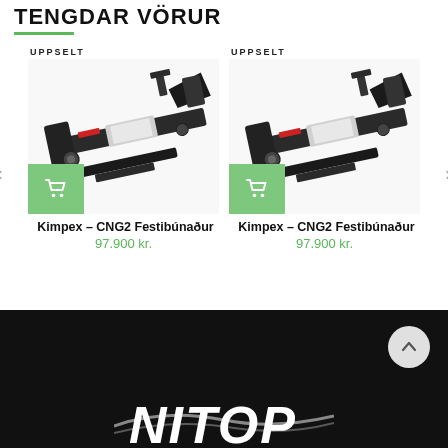TENGDAR VÖRUR
[Figure (photo): Product card left: UPPSELT badge, photo of Kimpex CNG2 mounting frame (black metal bracket assembly), green shopping cart button]
Kimpex – CNG2 Festibúnaður
97.900 kr.
[Figure (photo): Product card right: UPPSELT badge, photo of Kimpex CNG2 mounting frame (black metal bracket assembly), green shopping cart button]
Kimpex – CNG2 Festibúnaður
97.900 kr.
[Figure (logo): White logo on black background at bottom of page, partially visible]